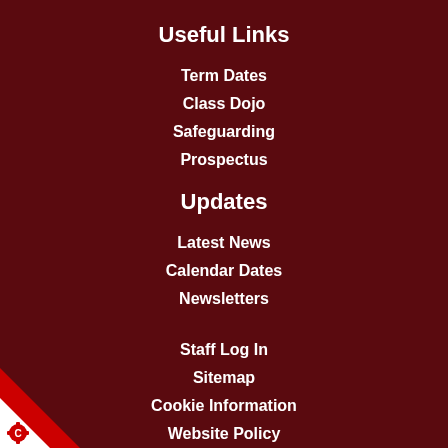Useful Links
Term Dates
Class Dojo
Safeguarding
Prospectus
Updates
Latest News
Calendar Dates
Newsletters
Staff Log In
Sitemap
Cookie Information
Website Policy
[Figure (logo): Corner logo with star/cog icon on red and white diagonal triangle]